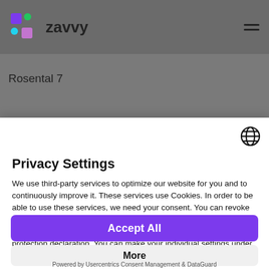[Figure (logo): Zavvy logo with colorful icon squares and 'zavvy' text]
Rosental 7
Privacy Settings
We use third-party services to optimize our website for you and to continuously improve it. These services use Cookies. In order to be able to use these services, we need your consent. You can revoke your consent at any time by clicking on the button in the lower left corner of the website. Further information can be found in our data protection declaration. You can make your individual settings under "Information & Settings"
Accept All
More
Powered by Usercentrics Consent Management & DataGuard